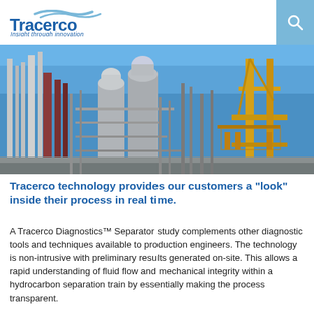Tracerco | Insight through innovation
[Figure (photo): Industrial oil and gas processing facility with large cylindrical vessels, piping, and a yellow crane structure against a blue sky.]
Tracerco technology provides our customers a "look" inside their process in real time.
A Tracerco Diagnostics™ Separator study complements other diagnostic tools and techniques available to production engineers. The technology is non-intrusive with preliminary results generated on-site. This allows a rapid understanding of fluid flow and mechanical integrity within a hydrocarbon separation train by essentially making the process transparent.